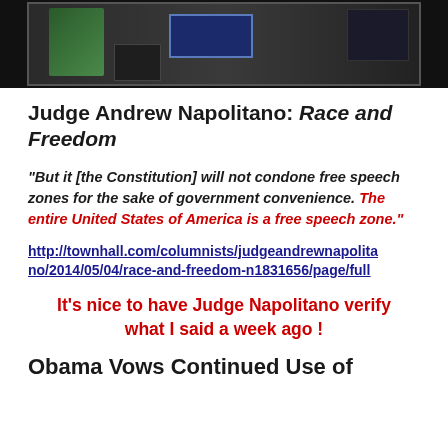[Figure (photo): Photo of a person at a podium with a dark background and a blue screen visible]
Judge Andrew Napolitano: Race and Freedom
“But it [the Constitution] will not condone free speech zones for the sake of government convenience. The entire United States of America is a free speech zone.”
http://townhall.com/columnists/judgeandrewnapolitano/2014/05/04/race-and-freedom-n1831656/page/full
It’s nice to have Judge Napolitano verify what I said a week ago !
Obama Vows Continued Use of